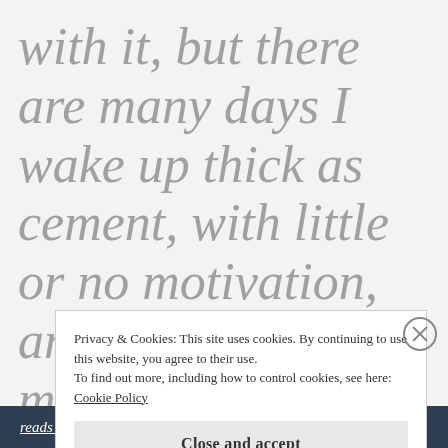with it, but there are many days I wake up thick as cement, with little or no motivation, and finding the magic of the moment seems like
Privacy & Cookies: This site uses cookies. By continuing to use this website, you agree to their use.
To find out more, including how to control cookies, see here: Cookie Policy
[Close and accept]
reads on the go.